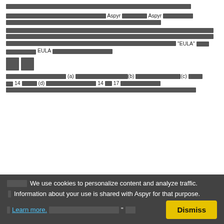[Redacted text line]
[Redacted paragraph referencing Aspyr and Aspyr]
[Redacted paragraph referencing "EULA" and EULA]
[Figure (other): Two small redacted icon squares]
[Redacted paragraph with (a), (b), (c), 14, (d), 14, 17]
We use cookies to personalize content and analyze traffic. Information about your use is shared with Aspyr for that purpose. Learn more.
Dismiss